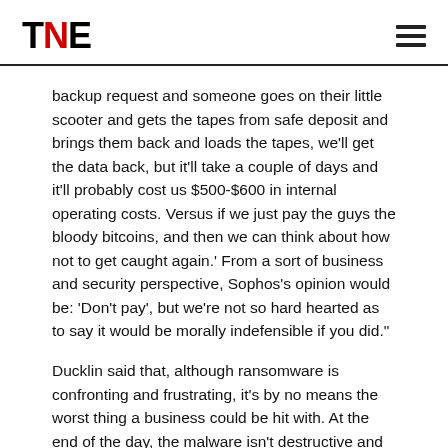TNE
backup request and someone goes on their little scooter and gets the tapes from safe deposit and brings them back and loads the tapes, we'll get the data back, but it'll take a couple of days and it'll probably cost us $500-$600 in internal operating costs. Versus if we just pay the guys the bloody bitcoins, and then we can think about how not to get caught again.' From a sort of business and security perspective, Sophos's opinion would be: 'Don't pay', but we're not so hard hearted as to say it would be morally indefensible if you did."
Ducklin said that, although ransomware is confronting and frustrating, it's by no means the worst thing a business could be hit with. At the end of the day, the malware isn't destructive and